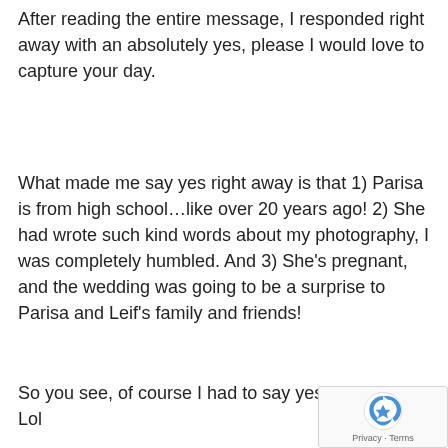After reading the entire message, I responded right away with an absolutely yes, please I would love to capture your day.
What made me say yes right away is that 1) Parisa is from high school…like over 20 years ago! 2) She had wrote such kind words about my photography, I was completely humbled. And 3) She's pregnant, and the wedding was going to be a surprise to Parisa and Leif's family and friends!
So you see, of course I had to say yes! I surprises. Lol